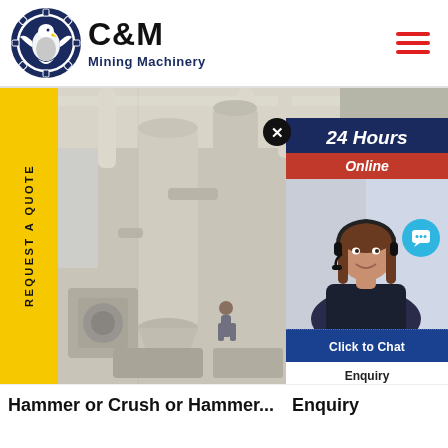[Figure (logo): C&M Mining Machinery logo with eagle in gear circle, dark navy blue and white]
[Figure (photo): Industrial mining/milling machinery — large white industrial equipment, silos, pipes in a factory setting with a worker visible]
[Figure (screenshot): 24 Hours Online chat widget overlay showing a woman with headset, click to chat button and Enquiry section]
REQUEST A QUOTE
Hammer or Crush or Hammer...
Enquiry